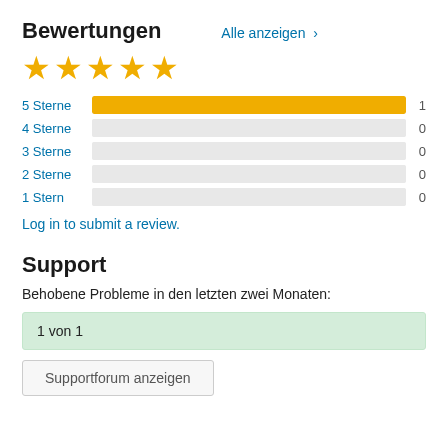Bewertungen
Alle anzeigen >
[Figure (other): Five yellow star rating icons]
5 Sterne 1
4 Sterne 0
3 Sterne 0
2 Sterne 0
1 Stern 0
Log in to submit a review.
Support
Behobene Probleme in den letzten zwei Monaten:
1 von 1
Supportforum anzeigen